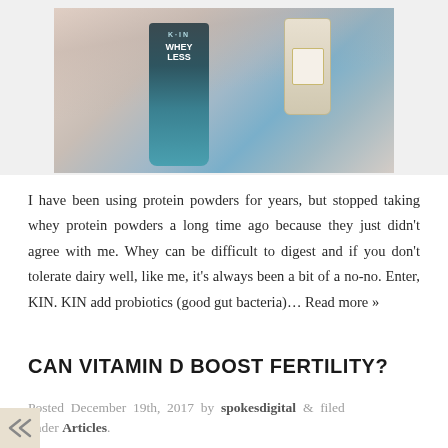[Figure (photo): Photo of a KIN Nutrition Whey protein powder tub (teal/dark colored) alongside a small glass bottle, with pink/mauve fabric in the background on a light surface.]
I have been using protein powders for years, but stopped taking whey protein powders a long time ago because they just didn't agree with me. Whey can be difficult to digest and if you don't tolerate dairy well, like me, it's always been a bit of a no-no. Enter, KIN. KIN add probiotics (good gut bacteria)… Read more »
CAN VITAMIN D BOOST FERTILITY?
Posted December 19th, 2017 by spokesdigital & filed under Articles.